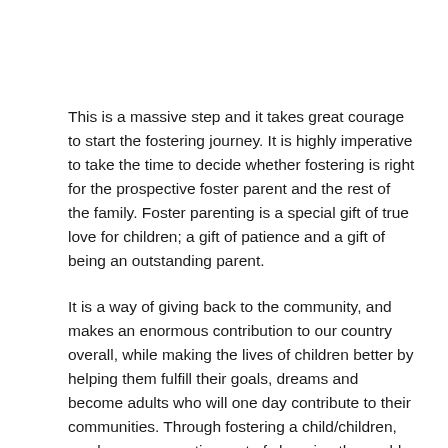This is a massive step and it takes great courage to start the fostering journey. It is highly imperative to take the time to decide whether fostering is right for the prospective foster parent and the rest of the family. Foster parenting is a special gift of true love for children; a gift of patience and a gift of being an outstanding parent.
It is a way of giving back to the community, and makes an enormous contribution to our country overall, while making the lives of children better by helping them fulfill their goals, dreams and become adults who will one day contribute to their communities. Through fostering a child/children, you become an active part of changing the world for the better.
The most significant reward is making an impact on the